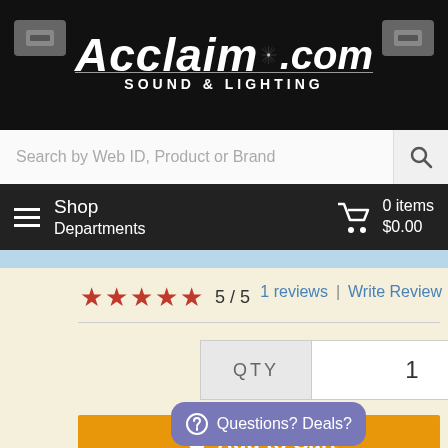Acclaim Sound & Lighting .com
Search by Web ID, Product or Brand
Shop Departments   0 items $0.00
★★★★★  5 / 5   1 reviews | Write Review
QTY  1
Add to Cart
Shipping Cost & Tax Estimation - See Info  Lowest Prices Guaranteed  Seen a better price? Let us
BEAM ME UP
Questions? Deals?